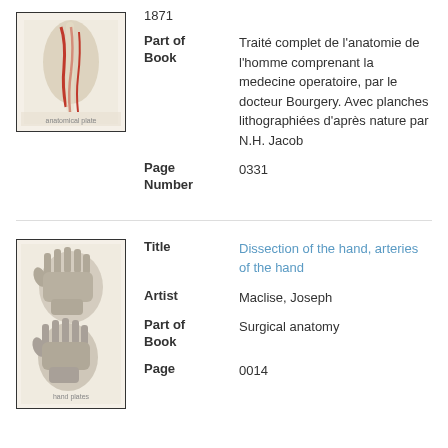[Figure (illustration): Anatomical illustration of an arm/hand with red artery markings on cream background, framed with black border]
1871
Part of Book: Traité complet de l'anatomie de l'homme comprenant la medecine operatoire, par le docteur Bourgery. Avec planches lithographiées d'après nature par N.H. Jacob
Page Number: 0331
[Figure (illustration): Anatomical illustrations showing three views of a human hand in grayscale, framed with black border]
Title: Dissection of the hand, arteries of the hand
Artist: Maclise, Joseph
Part of Book: Surgical anatomy
Page: 0014